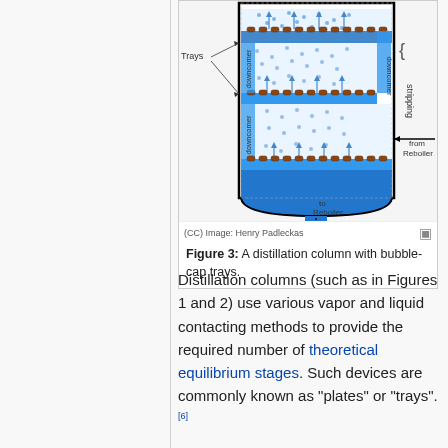[Figure (engineering-diagram): A distillation column cross-section showing bubble-cap trays with downcomers, blue liquid pools on trays, vapor arrows rising upward, dotted vapor-liquid contact zones, and labels for Trays, downcomer, stripping section, and connections to/from Reboiler.]
(CC) Image: Henry Padleckas
Figure 3: A distillation column with bubble-cap trays.
Distillation columns (such as in Figures 1 and 2) use various vapor and liquid contacting methods to provide the required number of theoretical equilibrium stages. Such devices are commonly known as "plates" or "trays".[6]